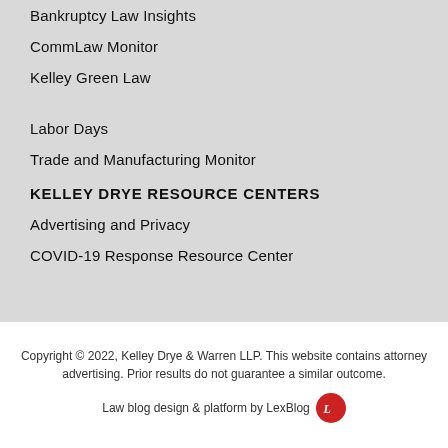Bankruptcy Law Insights
CommLaw Monitor
Kelley Green Law
Labor Days
Trade and Manufacturing Monitor
KELLEY DRYE RESOURCE CENTERS
Advertising and Privacy
COVID-19 Response Resource Center
Copyright © 2022, Kelley Drye & Warren LLP. This website contains attorney advertising. Prior results do not guarantee a similar outcome.
Law blog design & platform by LexBlog